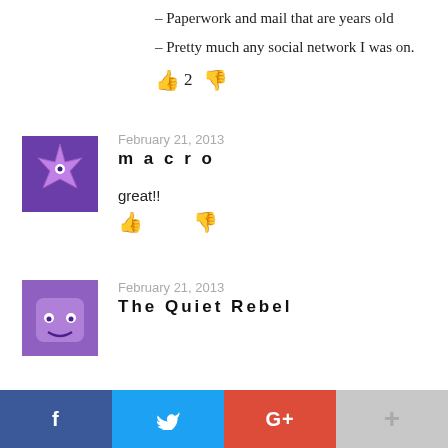– Paperwork and mail that are years old
– Pretty much any social network I was on.
👍 2 👎
February 21, 2013
macro
great!!
👍 👎
February 21, 2013
The Quiet Rebel
[Figure (infographic): Social share bar with Facebook (blue), Twitter (light blue), Google+ (red), and a grey more/plus button]